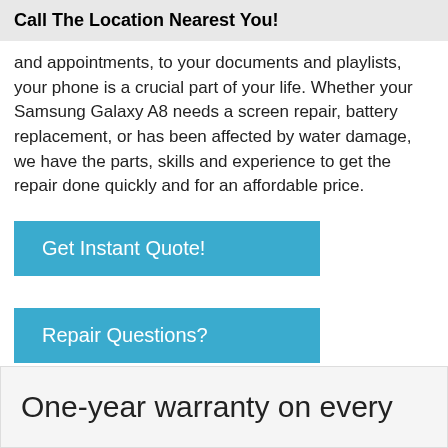Call The Location Nearest You!
and appointments, to your documents and playlists, your phone is a crucial part of your life. Whether your Samsung Galaxy A8 needs a screen repair, battery replacement, or has been affected by water damage, we have the parts, skills and experience to get the repair done quickly and for an affordable price.
[Figure (other): Blue button labeled 'Get Instant Quote!']
[Figure (other): Blue button labeled 'Repair Questions?']
One-year warranty on every